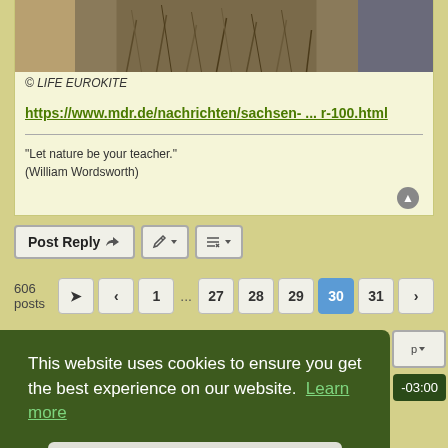[Figure (photo): Three nature photos side by side showing ground vegetation/grass texture]
© LIFE EUROKITE
https://www.mdr.de/nachrichten/sachsen- ... r-100.html
"Let nature be your teacher."
(William Wordsworth)
Post Reply
606 posts  1 ... 27 28 29 30 31
This website uses cookies to ensure you get the best experience on our website.  Learn more
Got it!